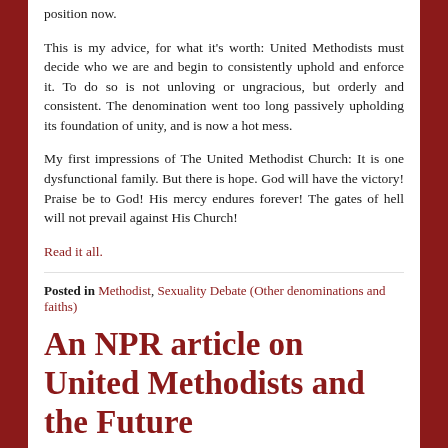position now.
This is my advice, for what it's worth: United Methodists must decide who we are and begin to consistently uphold and enforce it. To do so is not unloving or ungracious, but orderly and consistent. The denomination went too long passively upholding its foundation of unity, and is now a hot mess.
My first impressions of The United Methodist Church: It is one dysfunctional family. But there is hope. God will have the victory! Praise be to God! His mercy endures forever! The gates of hell will not prevail against His Church!
Read it all.
Posted in Methodist, Sexuality Debate (Other denominations and faiths)
An NPR article on United Methodists and the Future
Posted on June 27, 2019 by Kendall Harmon